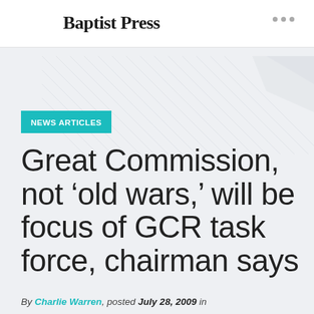Baptist Press
NEWS ARTICLES
Great Commission, not ‘old wars,’ will be focus of GCR task force, chairman says
By Charlie Warren, posted July 28, 2009 in